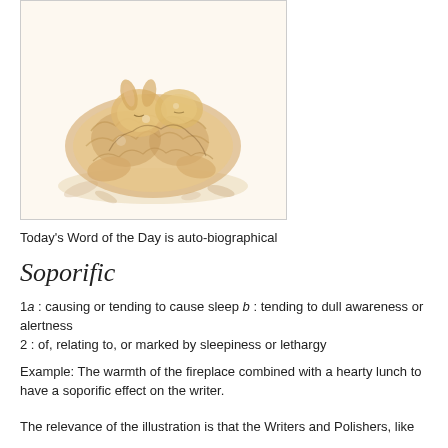[Figure (illustration): Watercolor illustration of sleeping rabbits or small animals curled together in a nest, rendered in warm sepia and golden tones]
Today's Word of the Day is auto-biographical
Soporific
1a : causing or tending to cause sleep b : tending to dull awareness or alertness
2 : of, relating to, or marked by sleepiness or lethargy
Example: The warmth of the fireplace combined with a hearty lunch to have a soporific effect on the writer.
The relevance of the illustration is that the Writers and Polishers, like